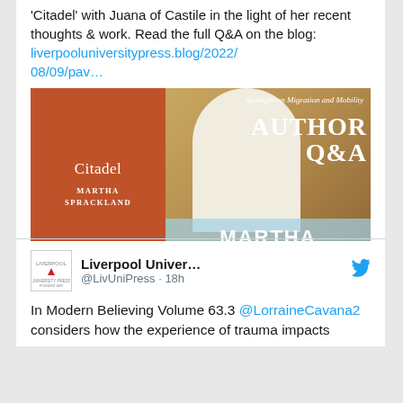'Citadel' with Juana of Castile in the light of her recent thoughts & work. Read the full Q&A on the blog: liverpooluniversitypress.blog/2022/08/09/pav…
[Figure (photo): Author Q&A promotional banner for Martha Sprackland's book 'Citadel'. Left side shows orange book cover; right side shows Moorish arch background with text 'Spotlight on Migration and Mobility', 'AUTHOR Q&A', and 'MARTHA SPRACKLAND' in a blue-tinted banner.]
Liverpool Univer... @LivUniPress · 18h
In Modern Believing Volume 63.3 @LorraineCavana2 considers how the experience of trauma impacts